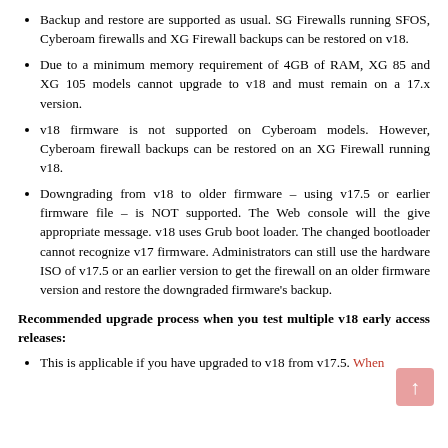Backup and restore are supported as usual. SG Firewalls running SFOS, Cyberoam firewalls and XG Firewall backups can be restored on v18.
Due to a minimum memory requirement of 4GB of RAM, XG 85 and XG 105 models cannot upgrade to v18 and must remain on a 17.x version.
v18 firmware is not supported on Cyberoam models. However, Cyberoam firewall backups can be restored on an XG Firewall running v18.
Downgrading from v18 to older firmware – using v17.5 or earlier firmware file – is NOT supported. The Web console will the give appropriate message. v18 uses Grub boot loader. The changed bootloader cannot recognize v17 firmware. Administrators can still use the hardware ISO of v17.5 or an earlier version to get the firewall on an older firmware version and restore the downgraded firmware's backup.
Recommended upgrade process when you test multiple v18 early access releases:
This is applicable if you have upgraded to v18 from v17.5. When